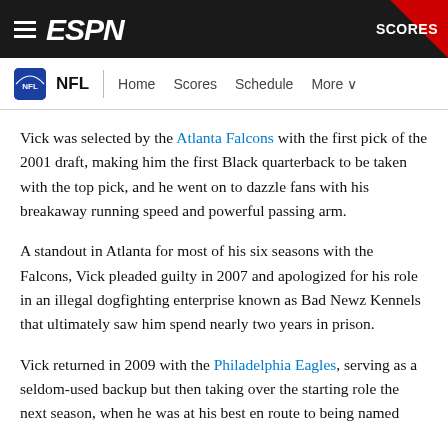ESPN — NFL — Home Scores Schedule More — SCORES
Vick was selected by the Atlanta Falcons with the first pick of the 2001 draft, making him the first Black quarterback to be taken with the top pick, and he went on to dazzle fans with his breakaway running speed and powerful passing arm.
A standout in Atlanta for most of his six seasons with the Falcons, Vick pleaded guilty in 2007 and apologized for his role in an illegal dogfighting enterprise known as Bad Newz Kennels that ultimately saw him spend nearly two years in prison.
Vick returned in 2009 with the Philadelphia Eagles, serving as a seldom-used backup but then taking over the starting role the next season, when he was at his best en route to being named